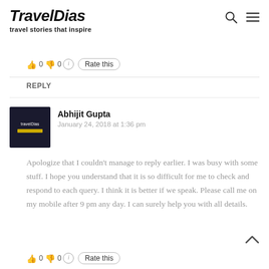TravelDias - travel stories that inspire
👍 0 👎 0 ℹ Rate this
REPLY
[Figure (logo): TravelDias logo avatar - dark background with yellow bar]
Abhijit Gupta
January 24, 2018 at 1:36 pm
Apologize that I couldn't manage to reply earlier. I was busy with some stuff. I hope you understand that it is so difficult for me to check and respond to each query. I think it is better if we speak. Please call me on my mobile after 9 pm any day. I can surely help you with all details.
👍 0 👎 0 ℹ Rate this